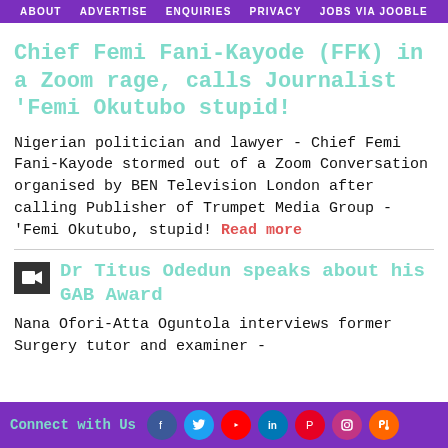ABOUT  ADVERTISE  ENQUIRIES  PRIVACY  JOBS VIA JOOBLE
Chief Femi Fani-Kayode (FFK) in a Zoom rage, calls Journalist 'Femi Okutubo stupid!
Nigerian politician and lawyer - Chief Femi Fani-Kayode stormed out of a Zoom Conversation organised by BEN Television London after calling Publisher of Trumpet Media Group - 'Femi Okutubo, stupid! Read more
[Figure (other): Video camera icon thumbnail for second article]
Dr Titus Odedun speaks about his GAB Award
Nana Ofori-Atta Oguntola interviews former Surgery tutor and examiner -
Connect with Us